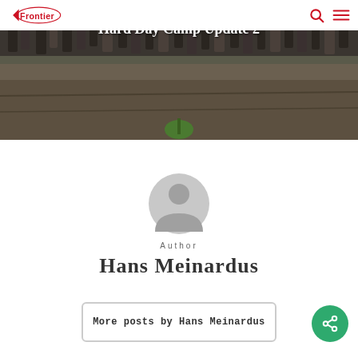Frontier
[Figure (photo): Hero image showing legs/feet of a group of people standing at the top, with rocky/dirt ground below. White bold text overlay reads 'Hard Day Camp Update 2']
Hard Day Camp Update 2
[Figure (illustration): Generic grey user avatar icon - circular silhouette of a person]
Author
Hans Meinardus
More posts by Hans Meinardus